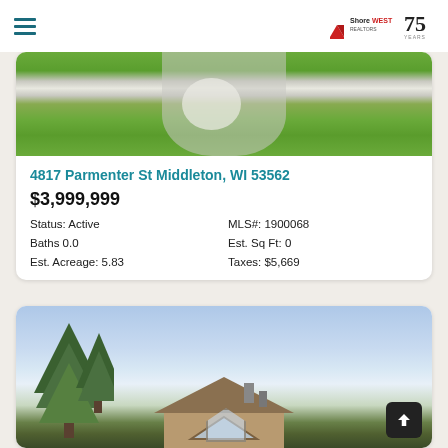ShoreWest 75 Years
[Figure (photo): Aerial view of agricultural fields with road and circular crop pattern]
4817 Parmenter St Middleton, WI 53562
$3,999,999
Status: Active
MLS#: 1900068
Baths 0.0
Est. Sq Ft: 0
Est. Acreage: 5.83
Taxes: $5,669
[Figure (photo): Exterior photo of a large timber-frame home with tall pine trees in front and blue sky]